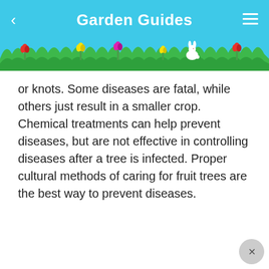Garden Guides
[Figure (illustration): Decorative garden scene with green grass hills, colorful tulip flowers (red, yellow, pink), a white rabbit, and a sky blue background]
or knots. Some diseases are fatal, while others just result in a smaller crop. Chemical treatments can help prevent diseases, but are not effective in controlling diseases after a tree is infected. Proper cultural methods of caring for fruit trees are the best way to prevent diseases.